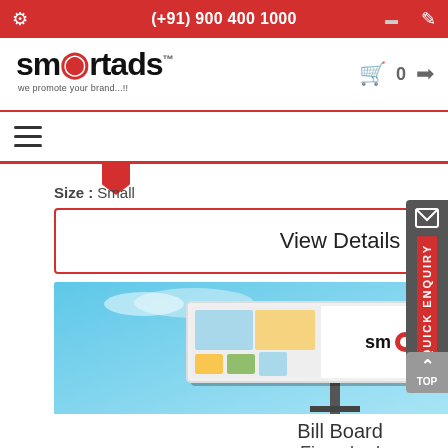(+91) 900 400 1000
[Figure (logo): smartads logo with tagline 'we promote your brand...!!']
Size : Small
View Details
[Figure (photo): Billboard advertisement showing smartads branding against a blue sky background]
Bill Board
Firozabad